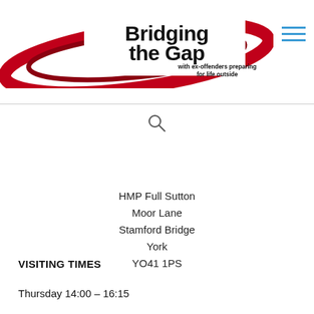[Figure (logo): Bridging the Gap logo — red swoosh ellipse with bold black text 'Bridging the Gap' and smaller text 'with ex-offenders preparing for life outside']
[Figure (other): Hamburger menu icon — three horizontal cyan/blue lines]
[Figure (other): Search (magnifying glass) icon]
HMP Full Sutton
Moor Lane
Stamford Bridge
York
YO41 1PS
VISITING TIMES
Thursday 14:00 – 16:15